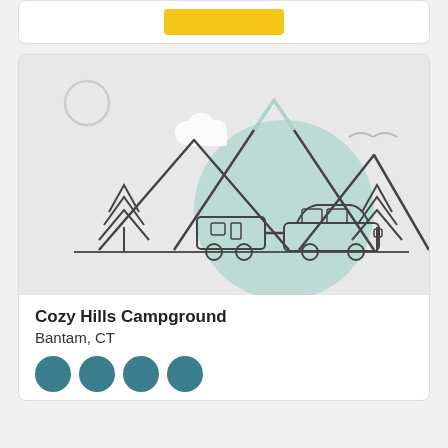[Figure (illustration): Yellow button on a white card at the top of the page]
[Figure (illustration): Camping illustration with mountains, trees, a car towing a camper trailer, a teal circle, clouds, and a sun outline on a light gray background]
Cozy Hills Campground
Bantam, CT
[Figure (illustration): Row of four teal circular icons representing campground amenities]